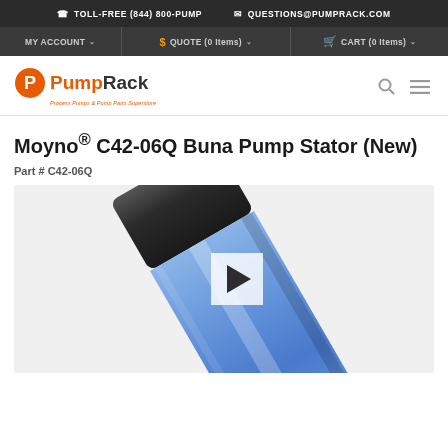TOLL-FREE (844) 800-PUMP  |  QUESTIONS@PUMPRACK.COM
MY ACCOUNT  |  QUOTE (0 Items)  |  CART (0 Items)
[Figure (logo): PumpRack logo with orange P circle icon and orange/dark text, tagline: Process Pumps & Pump Parts Superstore]
Moyno® C42-06Q Buna Pump Stator (New)
Part # C42-06Q
[Figure (photo): Photo of a blue cylindrical pump stator with black end cap, shown diagonally, with a video play button overlay in the center]